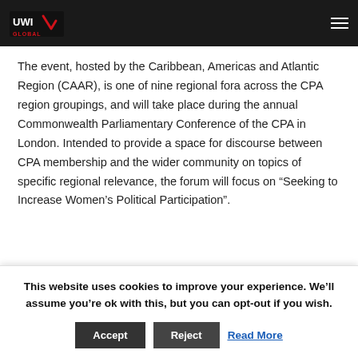UWI Global — navigation header
The event, hosted by the Caribbean, Americas and Atlantic Region (CAAR), is one of nine regional fora across the CPA region groupings, and will take place during the annual Commonwealth Parliamentary Conference of the CPA in London. Intended to provide a space for discourse between CPA membership and the wider community on topics of specific regional relevance, the forum will focus on “Seeking to Increase Women’s Political Participation”.
Prof Shepherd is expected to present on “Critical Mass vs Critical
This website uses cookies to improve your experience. We'll assume you're ok with this, but you can opt-out if you wish. Accept Reject Read More